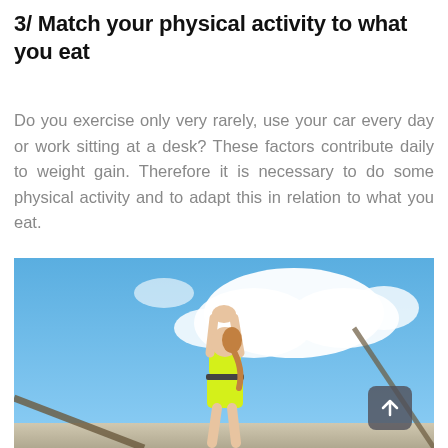3/ Match your physical activity to what you eat
Do you exercise only very rarely, use your car every day or work sitting at a desk? These factors contribute daily to weight gain. Therefore it is necessary to do some physical activity and to adapt this in relation to what you eat.
[Figure (photo): Woman in yellow athletic wear stretching with arms raised overhead against a blue sky with white clouds, photographed from below]